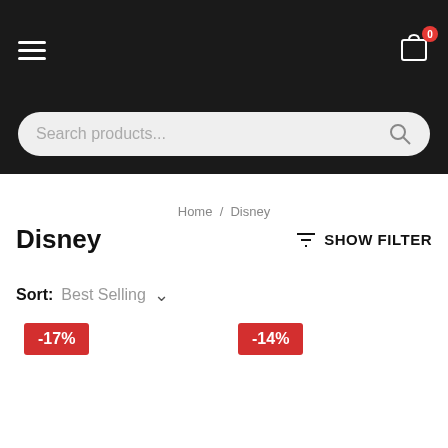Navigation header with hamburger menu and cart icon showing 0 items
Search products...
Home / Disney
Disney
SHOW FILTER
Sort: Best Selling
-17%
-14%